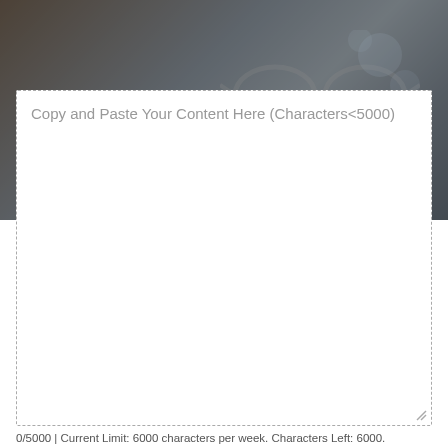[Figure (photo): Blurred background photo showing eyeglasses and bokeh light effects on a dark surface]
Copy and Paste Your Content Here (Characters<5000)
0/5000 | Current Limit: 6000 characters per week. Characters Left: 6000.
We support SSML TTS
Need more characters? Get 1,000,000 characters access for 24 hours